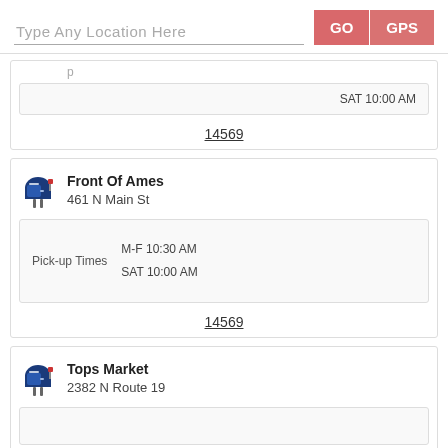Type Any Location Here | GO | GPS
SAT 10:00 AM
14569
Front Of Ames
461 N Main St
Pick-up Times M-F 10:30 AM SAT 10:00 AM
14569
Tops Market
2382 N Route 19